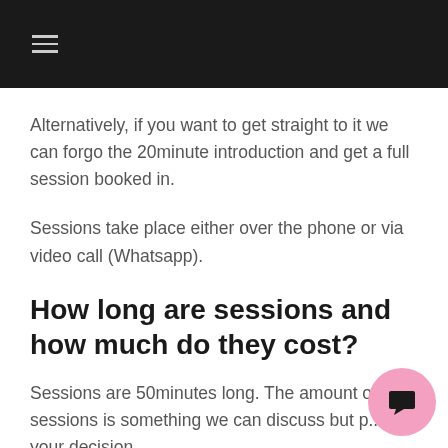≡
Alternatively, if you want to get straight to it we can forgo the 20minute introduction and get a full session booked in.
Sessions take place either over the phone or via video call (Whatsapp).
How long are sessions and how much do they cost?
Sessions are 50minutes long. The amount of sessions is something we can discuss but p... it is your decision.